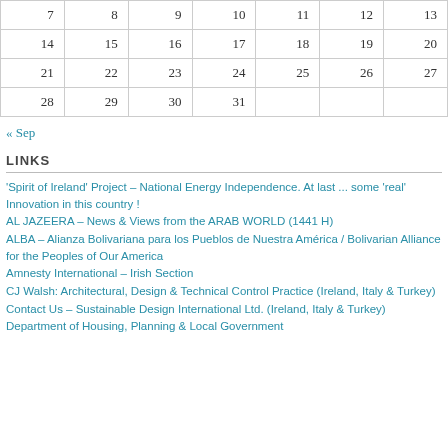| 7 | 8 | 9 | 10 | 11 | 12 | 13 |
| 14 | 15 | 16 | 17 | 18 | 19 | 20 |
| 21 | 22 | 23 | 24 | 25 | 26 | 27 |
| 28 | 29 | 30 | 31 |  |  |  |
« Sep
LINKS
'Spirit of Ireland' Project – National Energy Independence. At last ... some 'real' Innovation in this country !
AL JAZEERA – News & Views from the ARAB WORLD (1441 H)
ALBA – Alianza Bolivariana para los Pueblos de Nuestra América / Bolivarian Alliance for the Peoples of Our America
Amnesty International – Irish Section
CJ Walsh: Architectural, Design & Technical Control Practice (Ireland, Italy & Turkey)
Contact Us – Sustainable Design International Ltd. (Ireland, Italy & Turkey)
Department of Housing, Planning & Local Government